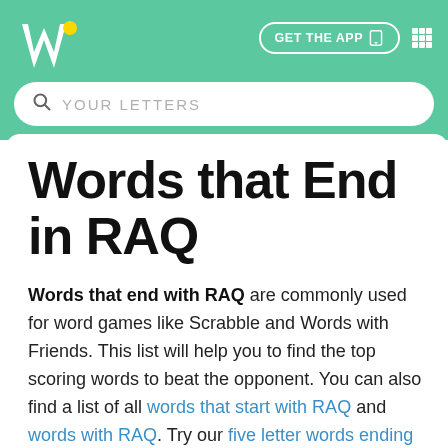W [logo] | GET THE APP [grid icon]
Words that End in RAQ
Words that end with RAQ are commonly used for word games like Scrabble and Words with Friends. This list will help you to find the top scoring words to beat the opponent. You can also find a list of all words that start with RAQ and words with RAQ. Try our five letter words ending with RAQ page if